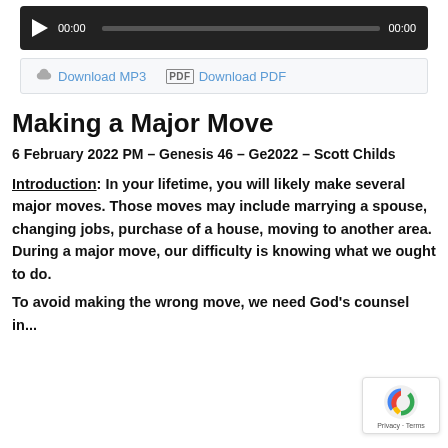[Figure (screenshot): Audio player bar with play button, 00:00 timestamp, progress bar, and 00:00 duration on dark background]
[Figure (screenshot): Download bar with Download MP3 and Download PDF links]
Making a Major Move
6 February 2022 PM – Genesis 46 – Ge2022 – Scott Childs
Introduction: In your lifetime, you will likely make several major moves. Those moves may include marrying a spouse, changing jobs, purchase of a house, moving to another area. During a major move, our difficulty is knowing what we ought to do.
To avoid making the wrong move, we need God's counsel in...